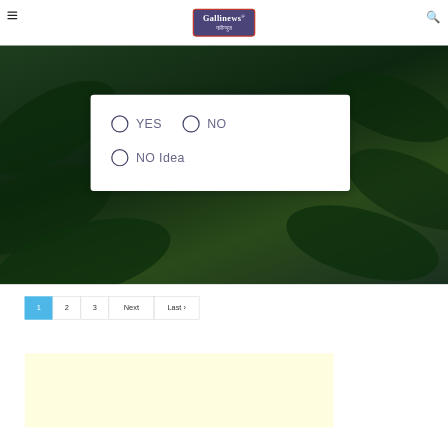Gallinews गलीन्युज
[Figure (other): Dark green foliage background image behind the poll card]
YES  NO  NO Idea — poll options with radio buttons
Pagination: 1 (active), 2, 3, Next, Last ›
[Figure (other): Light yellow advertisement banner area]